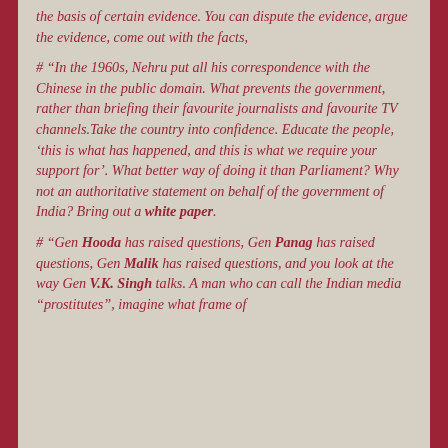the basis of certain evidence. You can dispute the evidence, argue the evidence, come out with the facts,
# “In the 1960s, Nehru put all his correspondence with the Chinese in the public domain. What prevents the government, rather than briefing their favourite journalists and favourite TV channels.Take the country into confidence. Educate the people, ‘this is what has happened, and this is what we require your support for’. What better way of doing it than Parliament? Why not an authoritative statement on behalf of the government of India? Bring out a white paper.
# “Gen Hooda has raised questions, Gen Panag has raised questions, Gen Malik has raised questions, and you look at the way Gen V.K. Singh talks. A man who can call the Indian media “prostitutes”, imagine what frame of